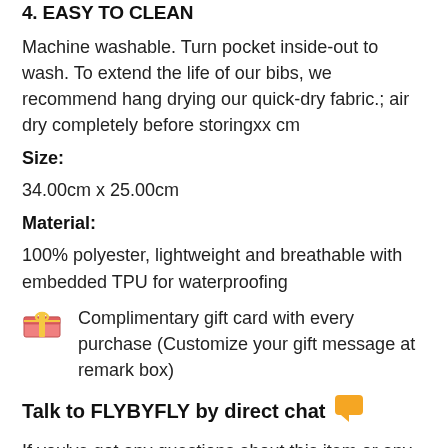4. EASY TO CLEAN
Machine washable. Turn pocket inside-out to wash. To extend the life of our bibs, we recommend hang drying our quick-dry fabric.; air dry completely before storingxx cm
Size:
34.00cm x 25.00cm
Material:
100% polyester, lightweight and breathable with embedded TPU for waterproofing
🎁 Complimentary gift card with every purchase (Customize your gift message at remark box)
Talk to FLYBYFLY by direct chat 💬
If you've got any questions about this item or any other, we